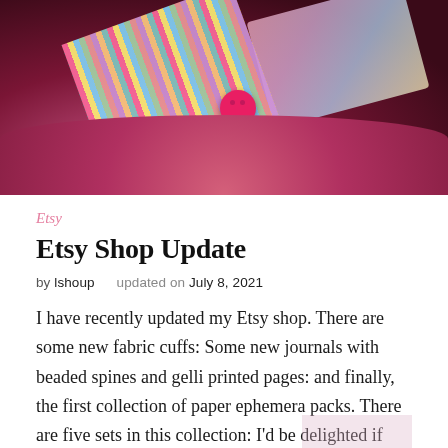[Figure (photo): Close-up photo of colorful striped items (possibly bookmarks or pens), a red button, and pink fluffy pom-poms on a dark burgundy/pink background, with a bright multicolored abstract area in the upper right.]
Etsy
Etsy Shop Update
by lshoup   updated on July 8, 2021
I have recently updated my Etsy shop. There are some new fabric cuffs: Some new journals with beaded spines and gelli printed pages: and finally, the first collection of paper ephemera packs. There are five sets in this collection: I'd be delighted if you